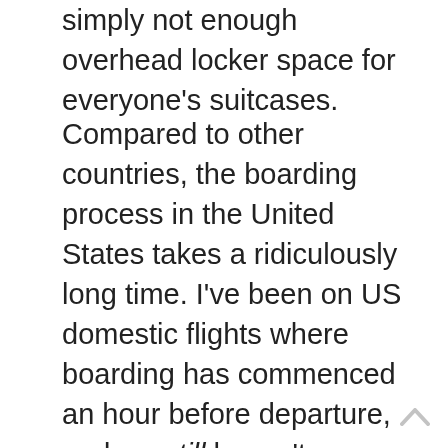simply not enough overhead locker space for everyone's suitcases.
Compared to other countries, the boarding process in the United States takes a ridiculously long time. I've been on US domestic flights where boarding has commenced an hour before departure, and we still haven't managed to get away on time because the cabin crew have spent ages trying to find space for – or gate-check – all of the surplus cabin bags. When bags need to be gate-checked – at no cost to the passenger – this wastes the time of airline staff that could be doing other things and has the potential to cause delays.